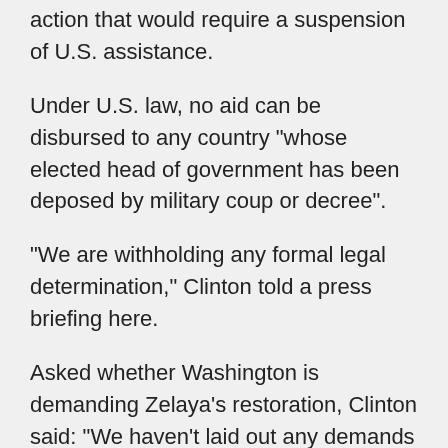action that would require a suspension of U.S. assistance.
Under U.S. law, no aid can be disbursed to any country "whose elected head of government has been deposed by military coup or decree".
"We are withholding any formal legal determination," Clinton told a press briefing here.
Asked whether Washington is demanding Zelaya's restoration, Clinton said: "We haven't laid out any demands that we're insisting on, because we're working with others on behalf of our ultimate objectives."
Her remarks marked a striking contrast to those of the secretary-general of the Organisation of American States (OAS), Jose Miguel Insulza, who, at a press conference here at OAS headquarters with Salvadorean President Mauricio Funes, declared that Zelaya's re-instatement as